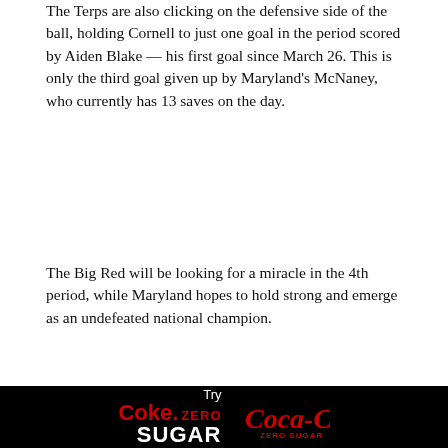The Terps are also clicking on the defensive side of the ball, holding Cornell to just one goal in the period scored by Aiden Blake — his first goal since March 26. This is only the third goal given up by Maryland's McNaney, who currently has 13 saves on the day.
The Big Red will be looking for a miracle in the 4th period, while Maryland hopes to hold strong and emerge as an undefeated national champion.
Click or tap here to track live stats of the championship battle.
5:44 PM, MAY 30, 2022
[Figure (other): Coca-Cola Zero Sugar advertisement banner: 'Try Coke. ZERO SUGAR' with Coca-Cola logo]